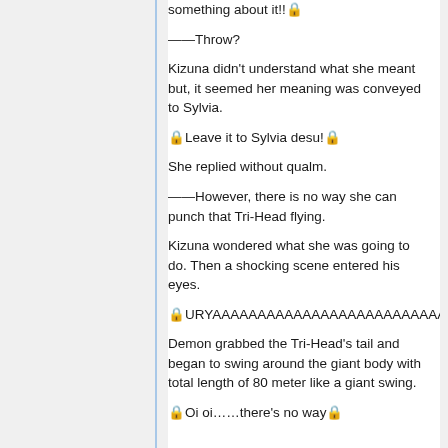something about it!!🔒
——Throw?
Kizuna didn't understand what she meant but, it seemed her meaning was conveyed to Sylvia.
🔒Leave it to Sylvia desu!🔒
She replied without qualm.
——However, there is no way she can punch that Tri-Head flying.
Kizuna wondered what she was going to do. Then a shocking scene entered his eyes.
🔒URYAAAAAAAAAAAAAAAAAAAAAAAAAAA
Demon grabbed the Tri-Head's tail and began to swing around the giant body with total length of 80 meter like a giant swing.
🔒Oi oi……there's no way🔒